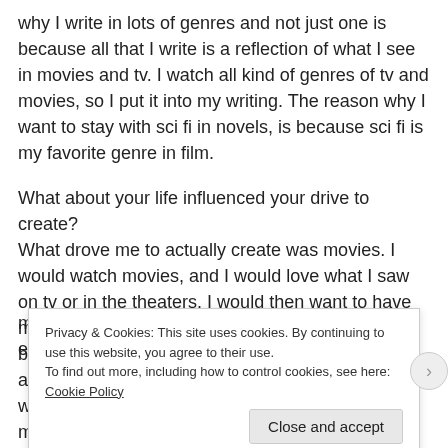why I write in lots of genres and not just one is because all that I write is a reflection of what I see in movies and tv. I watch all kind of genres of tv and movies, so I put it into my writing. The reason why I want to stay with sci fi in novels, is because sci fi is my favorite genre in film.
What about your life influenced your drive to create? What drove me to actually create was movies. I would watch movies, and I would love what I saw on tv or in the theaters. I would then want to have my imagination on a big screen for people to see, but I was a kid. It takes a lot to become a director, and it wasn't like I could start on it from a child. I would have ideas about what would be a great movie, and tell
Privacy & Cookies: This site uses cookies. By continuing to use this website, you agree to their use.
To find out more, including how to control cookies, see here: Cookie Policy
Close and accept